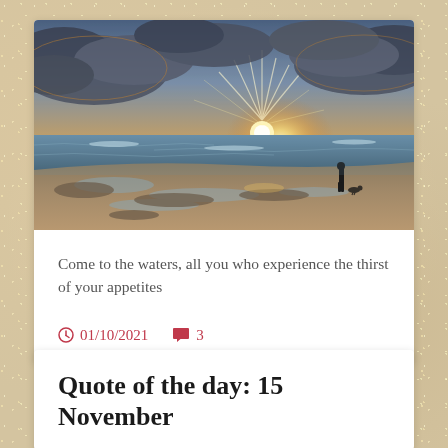[Figure (photo): Beach sunset scene with dramatic clouds, sun rays breaking through clouds over the ocean, wet sandy beach with rock pools in foreground, silhouette of a person standing to the right]
Come to the waters, all you who experience the thirst of your appetites
01/10/2021   3
Quote of the day: 15 November